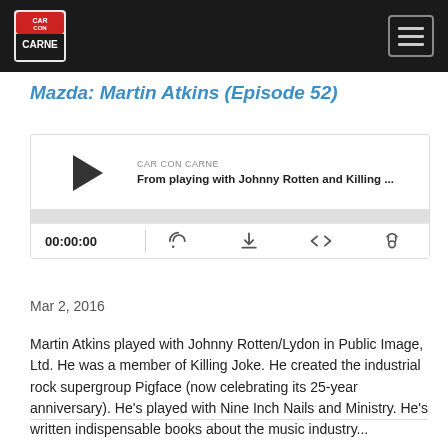CAR CON CARNE — navigation header
Mazda: Martin Atkins (Episode 52)
[Figure (other): Embedded podcast audio player showing 'CAR CON CARNE' label, title 'From playing with Johnny Rotten and Killing ...', play button, progress bar, time 00:00:00, and playback control icons]
Mar 2, 2016
Martin Atkins played with Johnny Rotten/Lydon in Public Image, Ltd. He was a member of Killing Joke. He created the industrial rock supergroup Pigface (now celebrating its 25-year anniversary). He's played with Nine Inch Nails and Ministry. He's written indispensable books about the music industry...
Read More